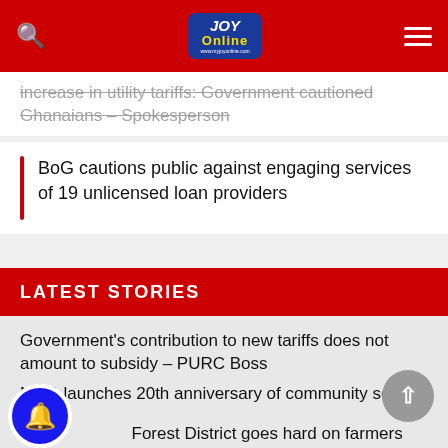JoyOnline
increase in utility tariffs: Government cautioned Ghanaians – Spokesperson
BoG cautions public against engaging services of 19 unlicensed loan providers
LATEST STORIES
Government's contribution to new tariffs does not amount to subsidy – PURC Boss
NGO launches 20th anniversary of community service
Juabeso Forest District goes hard on farmers failing to use Trestment system
Fotocopy wins Emerging Artiste of the Year Award at Ghana